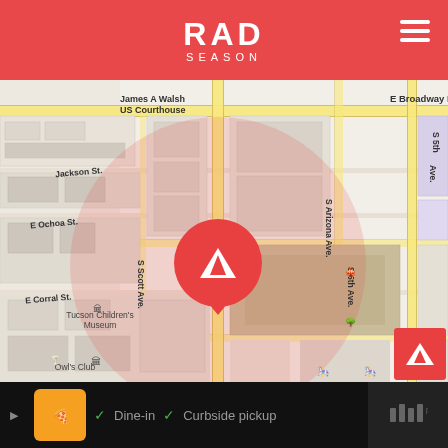RAD SEASON
[Figure (map): Street map of Tucson, AZ showing location pin near Armory Park and Tucson Children's Museum. Red circle radius highlight centered on the pin. Visible streets: E Broadway Blvd, S Arizona Ave, S 5th Ave, S Scott Ave, S 6th Ave, Jackson St, E Ochoa St, E Corral St, E 12th St, E 13th St. Points of interest: James A Walsh US Courthouse, Tucson Children's Museum, Armory Park, Owl's Club.]
Dine-in   Curbside pickup